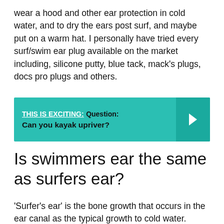wear a hood and other ear protection in cold water, and to dry the ears post surf, and maybe put on a warm hat. I personally have tried every surf/swim ear plug available on the market including, silicone putty, blue tack, mack's plugs, docs pro plugs and others.
THIS IS EXCITING: Question: Can you kayak upriver?
Is swimmers ear the same as surfers ear?
'Surfer's ear' is the bone growth that occurs in the ear canal as the typical growth to cold water. Whereas 'Swimmer's ear' is caused...